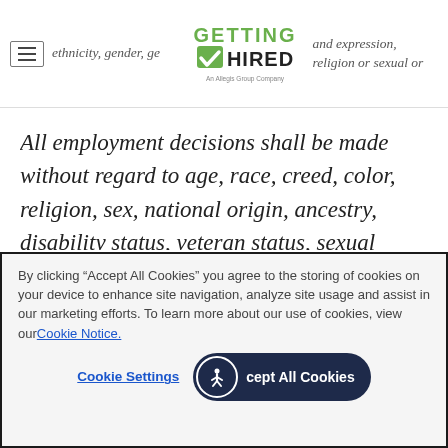ethnicity, gender, ge [GETTING HIRED logo] and expression, religion or sexual or
All employment decisions shall be made without regard to age, race, creed, color, religion, sex, national origin, ancestry, disability status, veteran status, sexual orientation, gender identity or expression, genetic information, marital status, citizenship status or any other basis as protected by
By clicking “Accept All Cookies” you agree to the storing of cookies on your device to enhance site navigation, analyze site usage and assist in our marketing efforts. To learn more about our use of cookies, view our Cookie Notice.